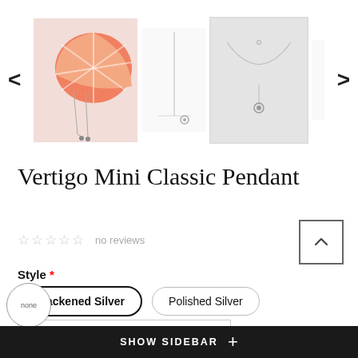[Figure (photo): Product image carousel showing four views of the Vertigo Mini Classic Pendant: first image shows pendant next to a grapefruit slice on pink background, second is a thin chain pendant on white, third is a necklace close-up on light grey background, fourth is earrings on white. Navigation arrows on each side.]
Vertigo Mini Classic Pendant
☆☆☆☆☆  no reviews
Style *
Blackened Silver
Polished Silver
Chain *
Netherlands (€) EN  Silver chain 40cm (16inch)
SHOW SIDEBAR +